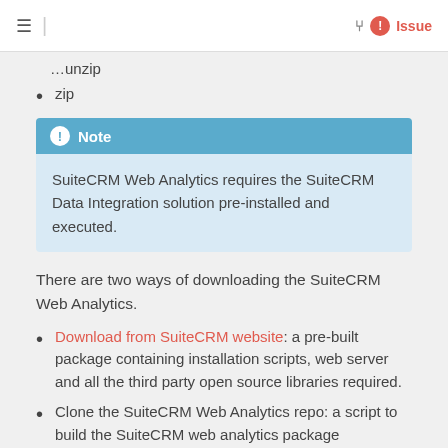≡ | Issue
unzip
zip
Note
SuiteCRM Web Analytics requires the SuiteCRM Data Integration solution pre-installed and executed.
There are two ways of downloading the SuiteCRM Web Analytics.
Download from SuiteCRM website: a pre-built package containing installation scripts, web server and all the third party open source libraries required.
Clone the SuiteCRM Web Analytics repo: a script to build the SuiteCRM web analytics package (generating